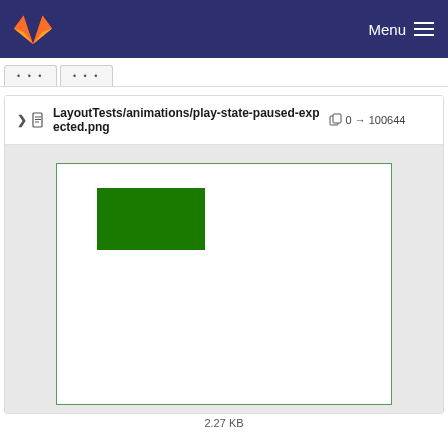GitLab — Menu
... ...
LayoutTests/animations/play-state-paused-expected.png  0 → 100644
[Figure (screenshot): A white rectangle with a green filled rectangle in the upper-left quadrant, bordered by a green outline, shown as a file preview in a GitLab diff view.]
2.27 KB